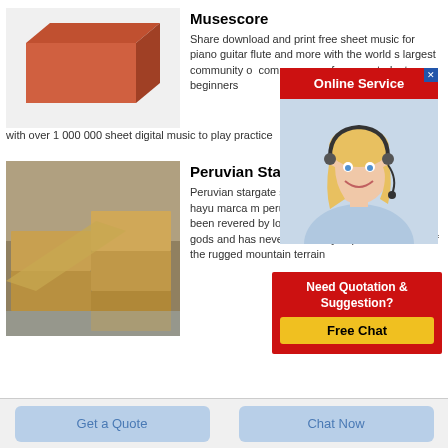[Figure (photo): Orange/red rectangular brick on white background]
Musescore
Share download and print free sheet music for piano guitar flute and more with the world s largest community of composers performers students beginners with over 1 000 000 sheet digital music to play practice
[Figure (photo): Online Service popup with woman wearing headset]
[Figure (photo): Stack of tan/brown bricks in warehouse setting]
Peruvian Star
Peruvian stargate s mysterious door like in the hayu marca m peru hayu marca 35 puno has long been revered by local indians as the city of the gods and has never been fully explored because of the rugged mountain terrain
[Figure (infographic): Need Quotation & Suggestion? Free Chat popup in red with yellow button]
Get a Quote
Chat Now